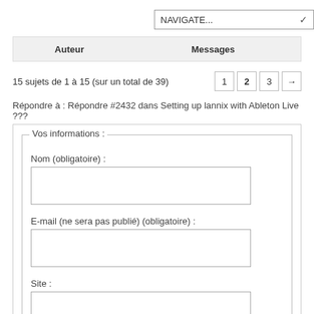[Figure (screenshot): NAVIGATE... dropdown selector button in top right]
| Auteur | Messages |
| --- | --- |
15 sujets de 1 à 15 (sur un total de 39)
Répondre à : Répondre #2432 dans Setting up lannix with Ableton Live ???
Vos informations :
Nom (obligatoire) :
E-mail (ne sera pas publié) (obligatoire) :
Site :